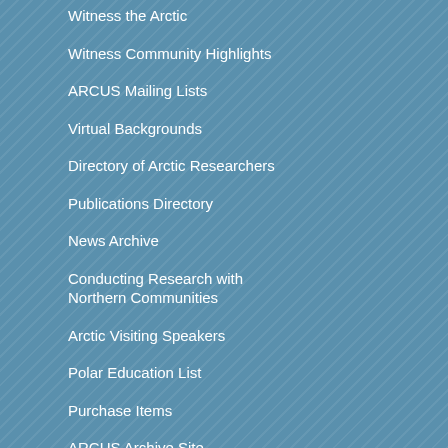Witness the Arctic
Witness Community Highlights
ARCUS Mailing Lists
Virtual Backgrounds
Directory of Arctic Researchers
Publications Directory
News Archive
Conducting Research with Northern Communities
Arctic Visiting Speakers
Polar Education List
Purchase Items
ARCUS Archive Site
Donate
ARCUS Membership Donation
Giving to ARCUS
Donor Levels